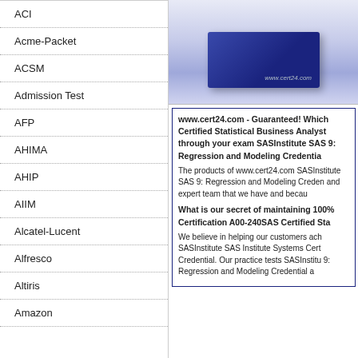ACI
Acme-Packet
ACSM
Admission Test
AFP
AHIMA
AHIP
AIIM
Alcatel-Lucent
Alfresco
Altiris
Amazon
[Figure (photo): Blue product box for www.cert24.com certification study materials]
www.cert24.com - Guaranteed! Which Certified Statistical Business Analyst through your exam SASInstitute SAS 9: Regression and Modeling Credential
The products of www.cert24.com SASInstitute SAS 9: Regression and Modeling Credential and expert team that we have and because
What is our secret of maintaining 100% Certification A00-240SAS Certified Statistical
We believe in helping our customers achieve SASInstitute SAS Institute Systems Certification Credential. Our practice tests SASInstitute 9: Regression and Modeling Credential a